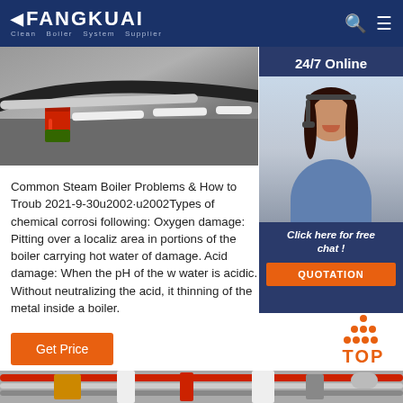FANGKUAI — Clean Boiler System Supplier
[Figure (photo): Industrial boiler components and pipes on a workbench, with a red paint canister and white pipe segments]
[Figure (photo): 24/7 Online customer service agent (woman with headset) sidebar panel with 'Click here for free chat!' and QUOTATION button]
Common Steam Boiler Problems & How to Troub 2021-9-30u2002·u2002Types of chemical corrosi following: Oxygen damage: Pitting over a localiz area in portions of the boiler carrying hot water of damage. Acid damage: When the pH of the w water is acidic. Without neutralizing the acid, it thinning of the metal inside a boiler.
Get Price
[Figure (other): TOP navigation button with orange dot pattern above text]
[Figure (photo): Bottom strip showing colorful industrial pipes]